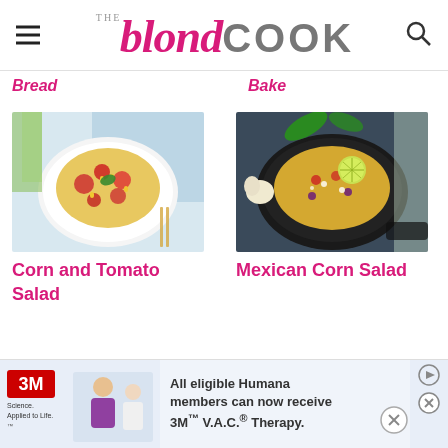THE blond COOK
Bread
Bake
[Figure (photo): Bowl of corn and tomato salad with cherry tomatoes and basil]
Corn and Tomato Salad
[Figure (photo): Cast iron skillet with Mexican corn salad topped with lime slice, feta, and herbs on a dark background]
Mexican Corn Salad
[Figure (photo): Advertisement banner: 3M Science Applied to Life. All eligible Humana members can now receive 3M V.A.C. Therapy.]